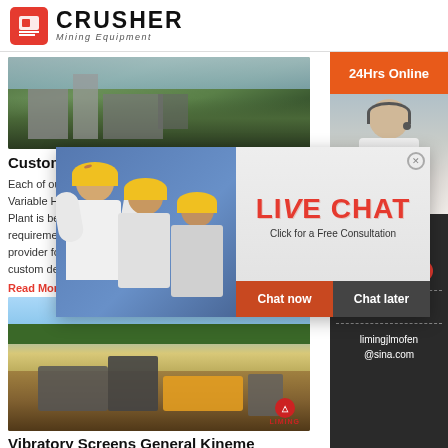CRUSHER Mining Equipment
[Figure (photo): Aerial view of a mining/screening plant facility with industrial machinery and green hillside background]
Custom Made Screening Machine – VIBFEM
Each of our Vibrating screen like Circular Motion, Variable High Frequency, Plant is best requirements, provider for custom design
Read More
[Figure (infographic): Live chat popup overlay with workers in yellow helmets, LIVE CHAT heading, Click for a Free Consultation text, Chat now and Chat later buttons]
[Figure (photo): Mining equipment and machinery operating in a quarry/open pit site with yellow construction vehicles and Liming brand logo]
Vibratory Screens General Kineme
[Figure (infographic): Right sidebar with customer service agent photo, 24Hrs Online bar, Need questions & suggestion text, Chat Now button, Enquiry link, limingjlmofen@sina.com email contact]